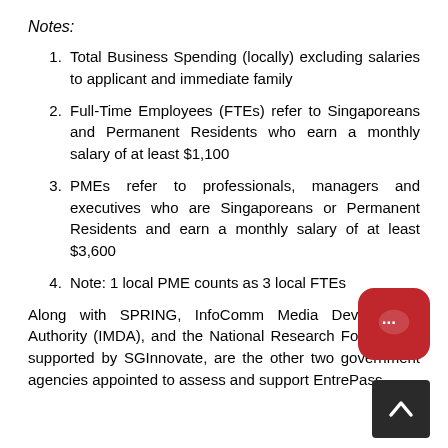Notes:
Total Business Spending (locally) excluding salaries to applicant and immediate family
Full-Time Employees (FTEs) refer to Singaporeans and Permanent Residents who earn a monthly salary of at least $1,100
PMEs refer to professionals, managers and executives who are Singaporeans or Permanent Residents and earn a monthly salary of at least $3,600
Note: 1 local PME counts as 3 local FTEs
Along with SPRING, InfoComm Media Development Authority (IMDA), and the National Research Foundation, supported by SGInnovate, are the other two government agencies appointed to assess and support EntrePass